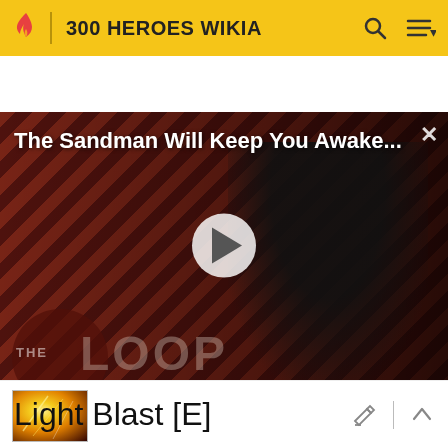300 HEROES WIKIA
[Figure (screenshot): Video thumbnail for 'The Sandman Will Keep You Awake - The Loop' showing a dark figure in black against a red diagonal stripe background, with a play button in the center and The Loop logo in the lower left.]
The Sandman Will Keep You Awake - The Loop  01:40
[Figure (photo): Small thumbnail image showing a fiery/explosive scene with yellow and orange colors]
Light Blast [E]